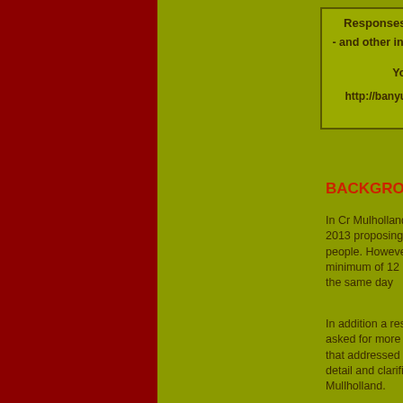[Figure (other): Dark red left sidebar panel]
Responses to CR Jenny Mullholla
- and other information on her personal w
Your questions a
http://banyule.net/    ..........    Note
http://www.
BACKGROUND
In Cr Mulholland's letter-drop of 21 Septem... 2013 proposing that a Resident Interest G... people. However a resident's meeting reso... minimum of 12 resident representatives w... the same day
In addition a residents' petition was submi... asked for more than one public meeting re... that addressed a limited range of issues s... detail and clarification of the role of the "In... Mullholland.